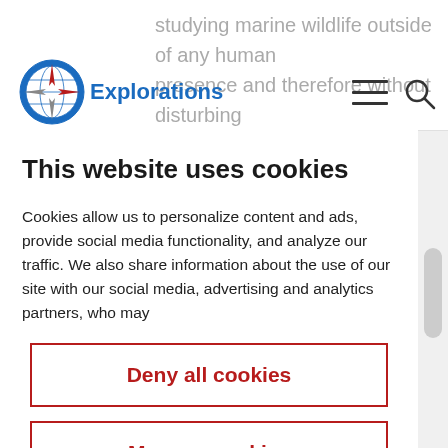Explorations
studying marine wildlife outside of any human presence and therefore without disturbing
This website uses cookies
Cookies allow us to personalize content and ads, provide social media functionality, and analyze our traffic. We also share information about the use of our site with our social media, advertising and analytics partners, who may
Deny all cookies
Manage cookies
Ok accept all